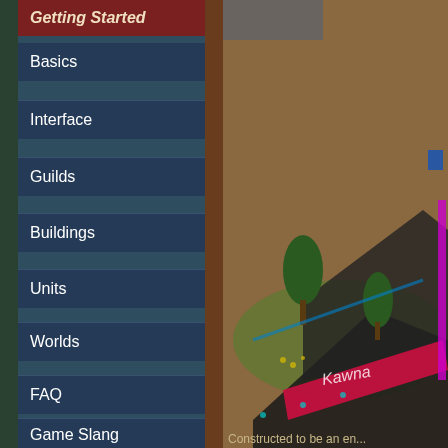Getting Started
Basics
Interface
Guilds
Buildings
Units
Worlds
FAQ
Game Slang
Game Features
The Universe
Campaign Map
PvP Arena
Neighborhood Tournaments
[Figure (screenshot): Isometric game view showing a stadium-like building with trees and colorful signage on a brown earthy background]
Constructed to be an en...